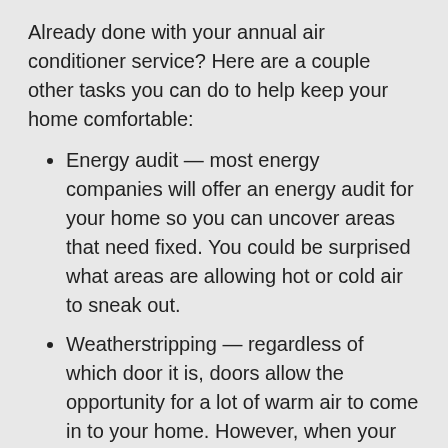Already done with your annual air conditioner service? Here are a couple other tasks you can do to help keep your home comfortable:
Energy audit — most energy companies will offer an energy audit for your home so you can uncover areas that need fixed. You could be surprised what areas are allowing hot or cold air to sneak out.
Weatherstripping — regardless of which door it is, doors allow the opportunity for a lot of warm air to come in to your home. However, when your door is shut, you could still have air making its way indoors. Check to see if your weatherstripping is in-tact or if it's worn, torn, or damaged in any other way that could be permitting cold air inside. If you notice any